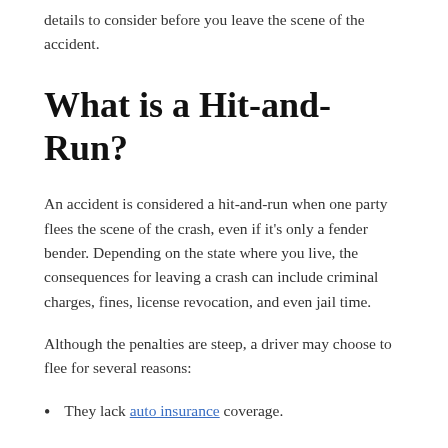details to consider before you leave the scene of the accident.
What is a Hit-and-Run?
An accident is considered a hit-and-run when one party flees the scene of the crash, even if it's only a fender bender. Depending on the state where you live, the consequences for leaving a crash can include criminal charges, fines, license revocation, and even jail time.
Although the penalties are steep, a driver may choose to flee for several reasons:
They lack auto insurance coverage.